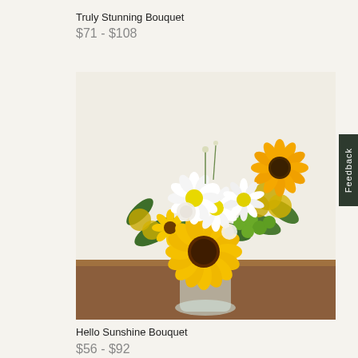Truly Stunning Bouquet
$71 - $108
[Figure (photo): A floral bouquet featuring sunflowers, white daisies, green button flowers, and yellow goldenrod in a clear glass vase sitting on a wooden table against a light background.]
Hello Sunshine Bouquet
$56 - $92